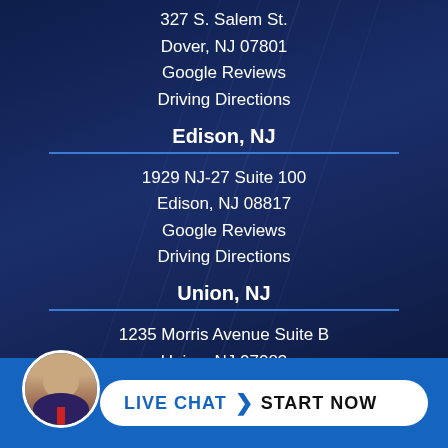327 S. Salem St.
Dover, NJ 07801
Google Reviews
Driving Directions
Edison, NJ
1929 NJ-27 Suite 100
Edison, NJ 08817
Google Reviews
Driving Directions
Union, NJ
1235 Morris Avenue Suite B
Union, NJ 07083
Google Reviews
Driving Directions
[Figure (photo): Portrait photo of a man in a suit with red tie in a circular avatar frame]
LIVE CHAT  START NOW